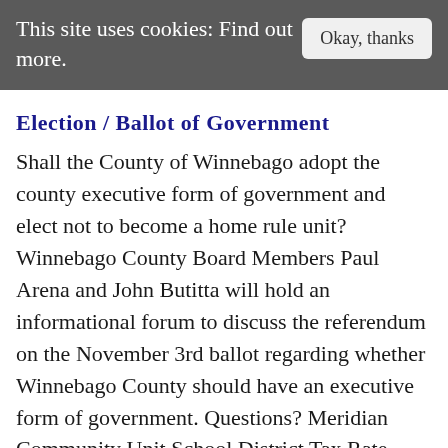This site uses cookies: Find out more. Okay, thanks
Election / Ballot of Government
Shall the County of Winnebago adopt the county executive form of government and elect not to become a home rule unit? Winnebago County Board Members Paul Arena and John Butitta will hold an informational forum to discuss the referendum on the November 3rd ballot regarding whether Winnebago County should have an executive form of government. Questions? Meridian Community Unit School District Tax Rate Increase Proposition (April 2013) Winnebago Park District Property Tax Levy Proposition (April) 2012, November 6 See also: